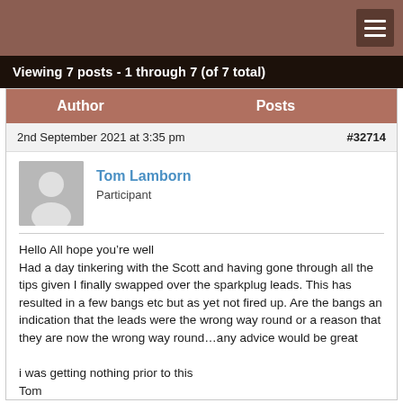Viewing 7 posts - 1 through 7 (of 7 total)
| Author | Posts |
| --- | --- |
2nd September 2021 at 3:35 pm   #32714
Tom Lamborn
Participant
Hello All hope you’re well
Had a day tinkering with the Scott and having gone through all the tips given I finally swapped over the sparkplug leads. This has resulted in a few bangs etc but as yet not fired up. Are the bangs an indication that the leads were the wrong way round or a reason that they are now the wrong way round…any advice would be great

i was getting nothing prior to this
Tom